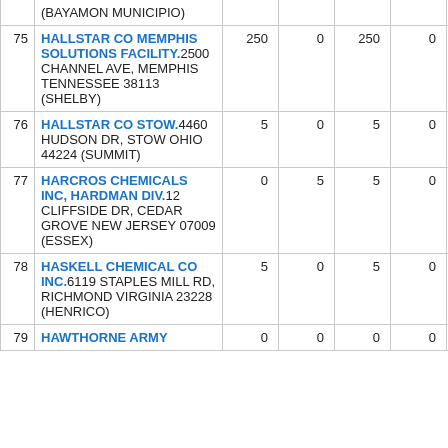| # | Facility | Col3 | Col4 | Col5 | Col6 |
| --- | --- | --- | --- | --- | --- |
|  | (BAYAMON MUNICIPIO) |  |  |  |  |
| 75 | HALLSTAR CO MEMPHIS SOLUTIONS FACILITY.2500 CHANNEL AVE, MEMPHIS TENNESSEE 38113 (SHELBY) | 250 | 0 | 250 | 0 |
| 76 | HALLSTAR CO STOW.4460 HUDSON DR, STOW OHIO 44224 (SUMMIT) | 5 | 0 | 5 | 0 |
| 77 | HARCROS CHEMICALS INC, HARDMAN DIV.12 CLIFFSIDE DR, CEDAR GROVE NEW JERSEY 07009 (ESSEX) | 0 | 5 | 5 | 0 |
| 78 | HASKELL CHEMICAL CO INC.6119 STAPLES MILL RD, RICHMOND VIRGINIA 23228 (HENRICO) | 5 | 0 | 5 | 0 |
| 79 | HAWTHORNE ARMY | 0 | 0 | 0 | 0 |